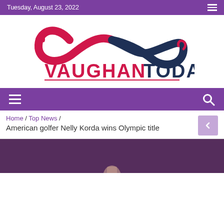Tuesday, August 23, 2022
[Figure (logo): Vaughan Today logo — infinity symbol made of two hands (pink and dark navy), with 'VAUGHAN TODAY' text below in bold pink and dark navy]
Navigation bar with hamburger menu and search icon
Home / Top News / American golfer Nelly Korda wins Olympic title
[Figure (photo): Partial photo at bottom of page showing a person against a dark purple/maroon background]